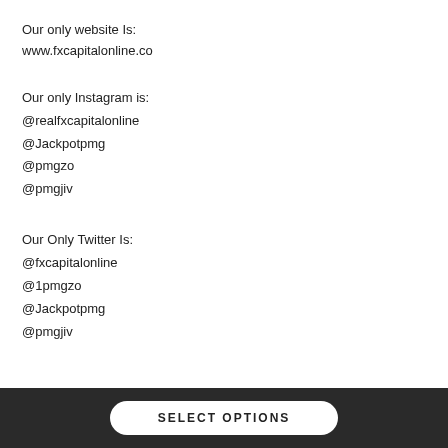Our only website Is:
www.fxcapitalonline.co
Our only Instagram is:
@realfxcapitalonline
@Jackpotpmg
@pmgzo
@pmgjiv
Our Only Twitter Is:
@fxcapitalonline
@1pmgzo
@Jackpotpmg
@pmgjiv
SELECT OPTIONS